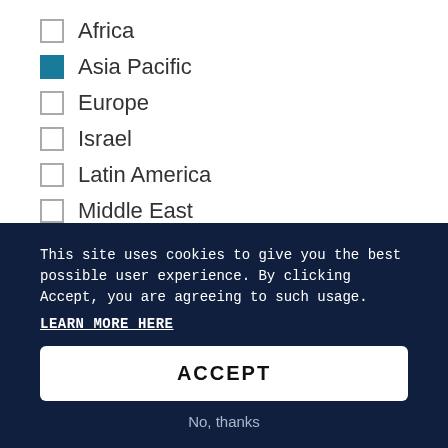Africa
Asia Pacific
Europe
Israel
Latin America
Middle East
CATEGORY
Global Voice
This site uses cookies to give you the best possible user experience.  By clicking Accept, you are agreeing to such usage.
LEARN MORE HERE
ACCEPT
No, thanks